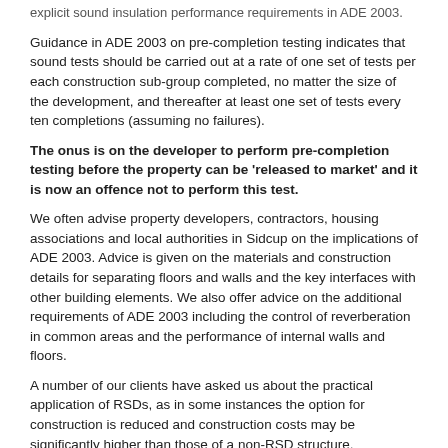explicit sound insulation performance requirements in ADE 2003.
Guidance in ADE 2003 on pre-completion testing indicates that sound tests should be carried out at a rate of one set of tests per each construction sub-group completed, no matter the size of the development, and thereafter at least one set of tests every ten completions (assuming no failures).
The onus is on the developer to perform pre-completion testing before the property can be 'released to market' and it is now an offence not to perform this test.
We often advise property developers, contractors, housing associations and local authorities in Sidcup on the implications of ADE 2003. Advice is given on the materials and construction details for separating floors and walls and the key interfaces with other building elements. We also offer advice on the additional requirements of ADE 2003 including the control of reverberation in common areas and the performance of internal walls and floors.
A number of our clients have asked us about the practical application of RSDs, as in some instances the option for construction is reduced and construction costs may be significantly higher than those of a non-RSD structure.
Pre-Completion Testing - The following table outlines the sets of tests that are required for New and Converted properties.
| Property Types | Test Requirements |
| --- | --- |
| Dwelling- | Normally, one set of tests will comprise of 2 |